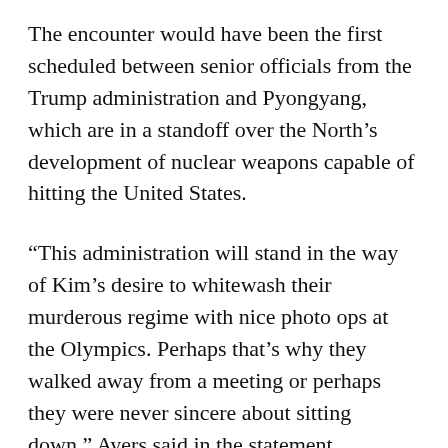The encounter would have been the first scheduled between senior officials from the Trump administration and Pyongyang, which are in a standoff over the North's development of nuclear weapons capable of hitting the United States.
“This administration will stand in the way of Kim’s desire to whitewash their murderous regime with nice photo ops at the Olympics. Perhaps that’s why they walked away from a meeting or perhaps they were never sincere about sitting down,” Ayers said in the statement.